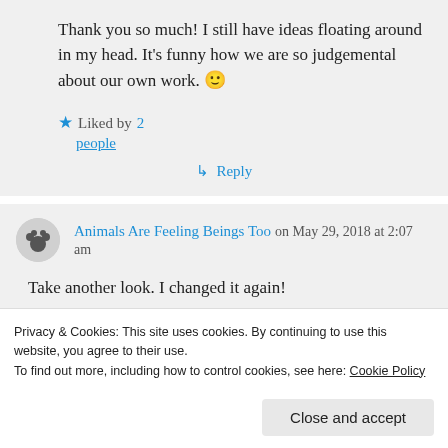Thank you so much! I still have ideas floating around in my head. It's funny how we are so judgemental about our own work. 🙂
★ Liked by 2 people
↳ Reply
Animals Are Feeling Beings Too on May 29, 2018 at 2:07 am
Take another look. I changed it again!
Privacy & Cookies: This site uses cookies. By continuing to use this website, you agree to their use.
To find out more, including how to control cookies, see here: Cookie Policy
Close and accept